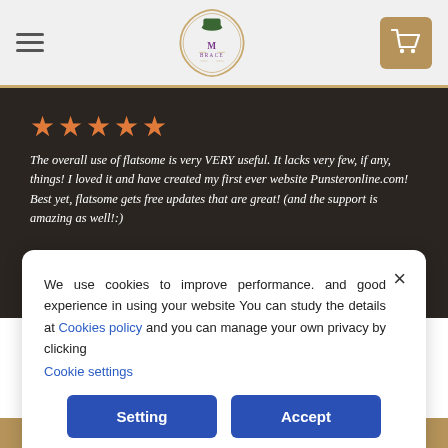[Figure (logo): M Brace logo in ornate border with hat icon, centered in header]
★★★★★
The overall use of flatsome is very VERY useful. It lacks very few, if any, things! I loved it and have created my first ever website Punsteronline.com! Best yet, flatsome gets free updates that are great! (and the support is amazing as well!:)
We use cookies to improve performance. and good experience in using your website You can study the details at Cookies policy and you can manage your own privacy by clicking
Cookie settings
Setting
Accept